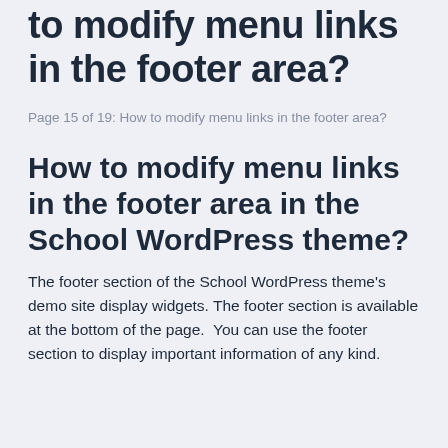to modify menu links in the footer area?
Page 15 of 19: How to modify menu links in the footer area?
How to modify menu links in the footer area in the School WordPress theme?
The footer section of the School WordPress theme's demo site display widgets. The footer section is available at the bottom of the page.  You can use the footer section to display important information of any kind.